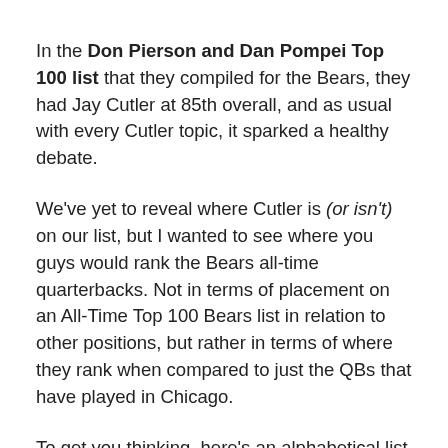In the Don Pierson and Dan Pompei Top 100 list that they compiled for the Bears, they had Jay Cutler at 85th overall, and as usual with every Cutler topic, it sparked a healthy debate.
We've yet to reveal where Cutler is (or isn't) on our list, but I wanted to see where you guys would rank the Bears all-time quarterbacks. Not in terms of placement on an All-Time Top 100 Bears list in relation to other positions, but rather in terms of where they rank when compared to just the QBs that have played in Chicago.
To get you thinking, here's an alphabetical list of some Bear quarterbacks that either made the Pro Bowl or